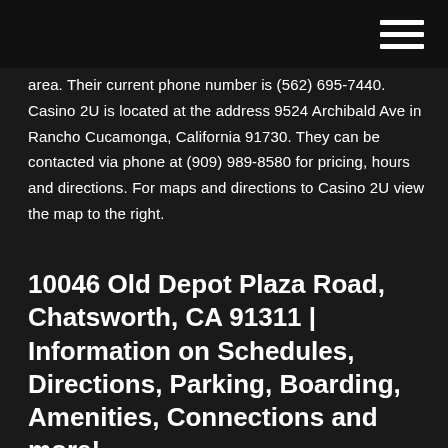[hamburger menu icon]
area. Their current phone number is (562) 695-7440. Casino 2U is located at the address 9524 Archibald Ave in Rancho Cucamonga, California 91730. They can be contacted via phone at (909) 989-8580 for pricing, hours and directions. For maps and directions to Casino 2U view the map to the right.
10046 Old Depot Plaza Road, Chatsworth, CA 91311 | Information on Schedules, Directions, Parking, Boarding, Amenities, Connections and more!